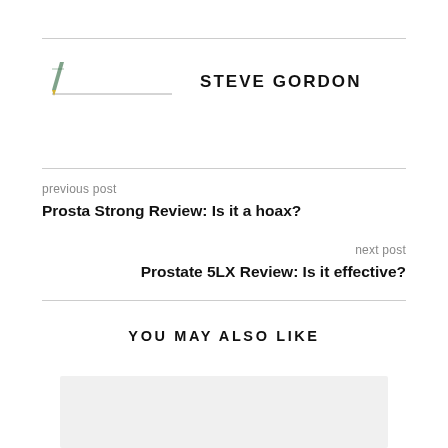[Figure (logo): Author avatar/logo image for Steve Gordon with a small pencil icon and horizontal line]
STEVE GORDON
previous post
Prosta Strong Review: Is it a hoax?
next post
Prostate 5LX Review: Is it effective?
YOU MAY ALSO LIKE
[Figure (photo): Gray placeholder image card at bottom of page]